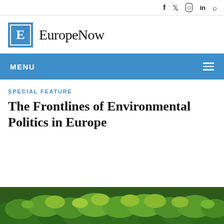f  𝕏  ⊙  in  🔍
[Figure (logo): EuropeNow logo: blue square with white letter E and site name EuropeNow in serif font]
MENU
SPECIAL FEATURE
The Frontlines of Environmental Politics in Europe
[Figure (photo): Aerial view of a green forest canopy with mixed tree colors]